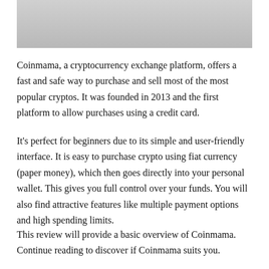[Figure (photo): Partial photo of a person wearing white clothing, cropped at the top of the page]
Coinmama, a cryptocurrency exchange platform, offers a fast and safe way to purchase and sell most of the most popular cryptos. It was founded in 2013 and the first platform to allow purchases using a credit card.
It's perfect for beginners due to its simple and user-friendly interface. It is easy to purchase crypto using fiat currency (paper money), which then goes directly into your personal wallet. This gives you full control over your funds. You will also find attractive features like multiple payment options and high spending limits.
This review will provide a basic overview of Coinmama. Continue reading to discover if Coinmama suits you.